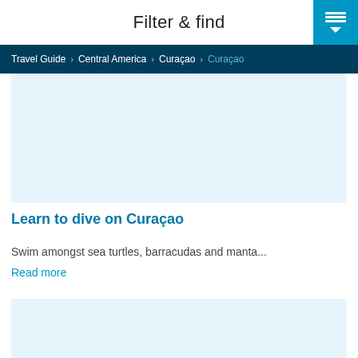Filter & find
Travel Guide > Central America > Curaçao > Curaçao
[Figure (photo): Image placeholder with light blue background - travel photo area for Curaçao]
Learn to dive on Curaçao
Swim amongst sea turtles, barracudas and manta...
Read more
[Figure (photo): Second image placeholder with light blue background - travel photo area for Curaçao]